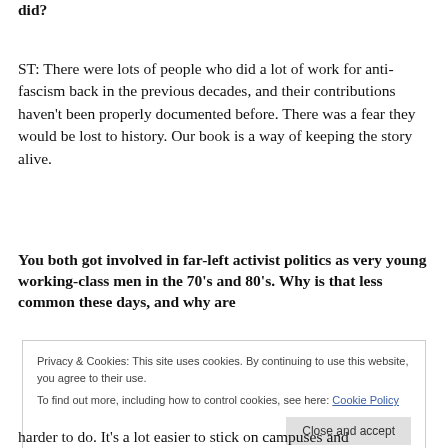did?
ST: There were lots of people who did a lot of work for anti-fascism back in the previous decades, and their contributions haven't been properly documented before. There was a fear they would be lost to history. Our book is a way of keeping the story alive.
You both got involved in far-left activist politics as very young working-class men in the 70's and 80's. Why is that less common these days, and why are
Privacy & Cookies: This site uses cookies. By continuing to use this website, you agree to their use.
To find out more, including how to control cookies, see here: Cookie Policy
harder to do. It's a lot easier to stick on campuses and